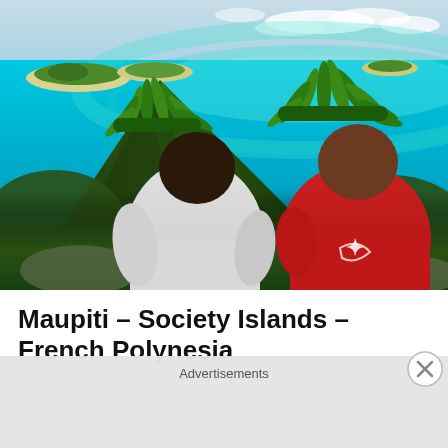[Figure (photo): Aerial view of Maupiti, French Polynesia. Two people wearing leaf headdresses (one in white shirt, one in red shirt) are seen from behind looking out over a dramatic volcanic peak, turquoise lagoon with coral reef and small islets in the distance.]
Maupiti – Society Islands – French Polynesia
Advertisements